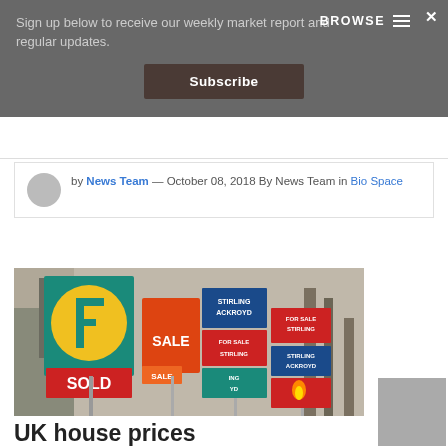Sign up below to receive our weekly market report and regular updates.
Subscribe
BROWSE
by News Team — October 08, 2018 By News Team in Bio Space
[Figure (photo): UK estate agent sale boards including 'SOLD' and 'SALE' signs from Stirling Ackroyd, with a large yellow 'F' logo on a teal background, clustered together on posts alongside bare winter trees.]
UK house prices